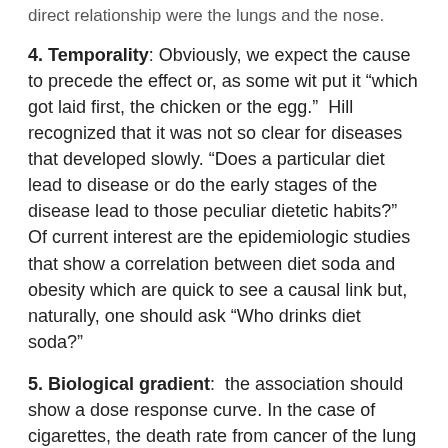direct relationship were the lungs and the nose.
4. Temporality: Obviously, we expect the cause to precede the effect or, as some wit put it “which got laid first, the chicken or the egg.”  Hill recognized that it was not so clear for diseases that developed slowly. “Does a particular diet lead to disease or do the early stages of the disease lead to those peculiar dietetic habits?” Of current interest are the epidemiologic studies that show a correlation between diet soda and obesity which are quick to see a causal link but, naturally, one should ask “Who drinks diet soda?”
5. Biological gradient:  the association should show a dose response curve. In the case of cigarettes, the death rate from cancer of the lung increases linearly with the number of cigarettes smoked. A subset of the first principle, that the association should be strong, is that the